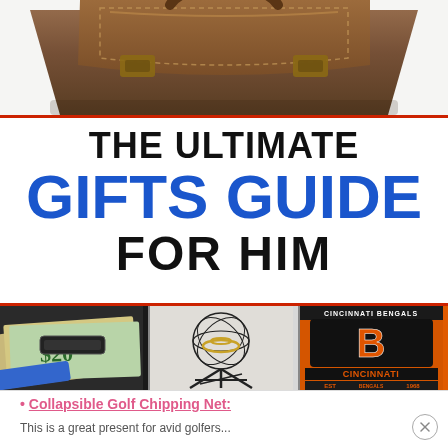[Figure (photo): Top portion of a brown leather messenger bag / briefcase on white background]
THE ULTIMATE GIFTS GUIDE FOR HIM
[Figure (photo): Three product images side by side: a money clip wallet with cash, a collapsible golf chipping net wire frame, and a Cincinnati Bengals NFL team blanket/flag with team logo and EST 1968]
Collapsible Golf Chipping Net:
This is a great present for avid golfers...